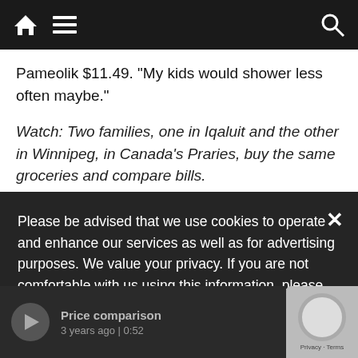Navigation bar with home, menu, and search icons
Pameolik $11.49. “My kids would shower less often maybe.”
Watch: Two families, one in Iqaluit and the other in Winnipeg, in Canada’s Praries, buy the same groceries and compare bills.
Please be advised that we use cookies to operate and enhance our services as well as for advertising purposes. We value your privacy. If you are not comfortable with us using this information, please review your settings before continuing your visit.
Manage your navigation settings
Find out more
[Figure (screenshot): Video thumbnail bar showing Price comparison video, 3 years ago | 0:52]